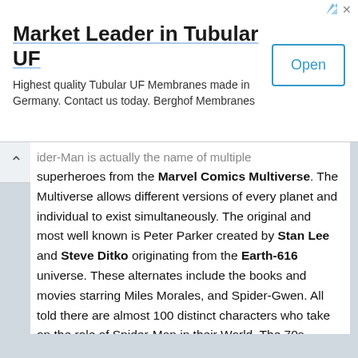[Figure (screenshot): Advertisement banner for Berghof Membranes: 'Market Leader in Tubular UF' with subtitle 'Highest quality Tubular UF Membranes made in Germany. Contact us today. Berghof Membranes' and an Open button]
ider-Man is actually the name of multiple superheroes from the Marvel Comics Multiverse. The Multiverse allows different versions of every planet and individual to exist simultaneously. The original and most well known is Peter Parker created by Stan Lee and Steve Ditko originating from the Earth-616 universe. These alternates include the books and movies starring Miles Morales, and Spider-Gwen. All told there are almost 100 distinct characters who take on the role of Spider-Man in their World. The 70s Marvel Comics anthology series What If? began the practice of expanding the multiverse to include fantasy versions of Spider-Man.